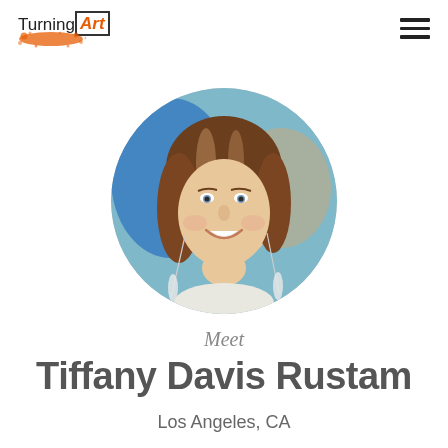[Figure (logo): TurningArt logo with orange paint splatter beneath]
[Figure (photo): Circular profile photo of Tiffany Davis Rustam, a young woman with brown hair and feather earrings, smiling, with a blue background behind her]
Meet
Tiffany Davis Rustam
Los Angeles, CA